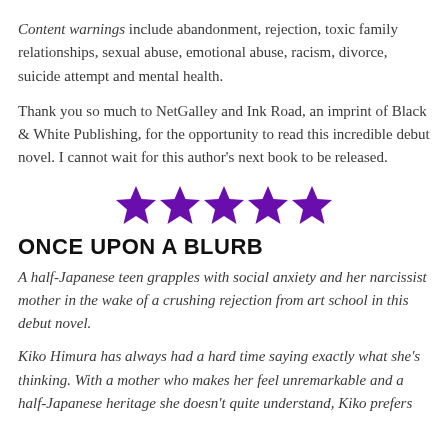Content warnings include abandonment, rejection, toxic family relationships, sexual abuse, emotional abuse, racism, divorce, suicide attempt and mental health.
Thank you so much to NetGalley and Ink Road, an imprint of Black & White Publishing, for the opportunity to read this incredible debut novel. I cannot wait for this author's next book to be released.
[Figure (other): Five purple star rating symbols arranged horizontally]
ONCE UPON A BLURB
A half-Japanese teen grapples with social anxiety and her narcissist mother in the wake of a crushing rejection from art school in this debut novel.
Kiko Himura has always had a hard time saying exactly what she's thinking. With a mother who makes her feel unremarkable and a half-Japanese heritage she doesn't quite understand, Kiko prefers